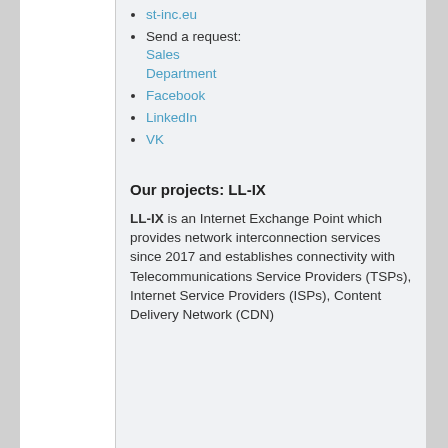st-inc.eu
Send a request: Sales Department
Facebook
LinkedIn
VK
Our projects: LL-IX
LL-IX is an Internet Exchange Point which provides network interconnection services since 2017 and establishes connectivity with Telecommunications Service Providers (TSPs), Internet Service Providers (ISPs), Content Delivery Network (CDN)